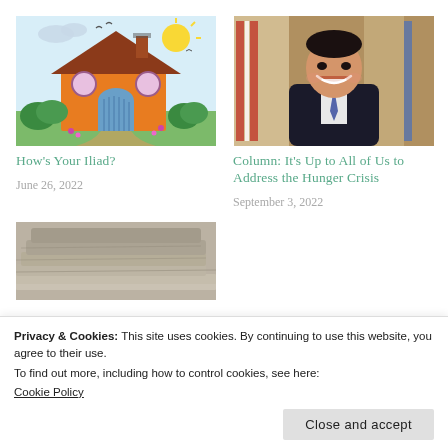[Figure (illustration): Child's colorful drawing of an orange house with a blue arched door, round windows, green bushes, sun, clouds, and birds]
[Figure (photo): Portrait photo of a smiling Asian man in a dark suit, with American flags in the background]
How's Your Iliad?
Column: It's Up to All of Us to Address the Hunger Crisis
June 26, 2022
September 3, 2022
[Figure (photo): Stack of folded newspapers, blurred background]
Privacy & Cookies: This site uses cookies. By continuing to use this website, you agree to their use.
To find out more, including how to control cookies, see here:
Cookie Policy
Close and accept